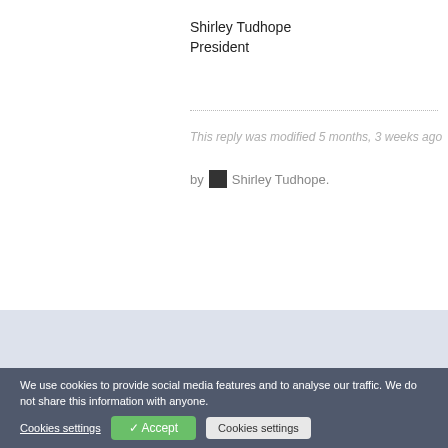Shirley Tudhope
President
This reply was modified 5 months, 3 weeks ago
by Shirley Tudhope.
2022 Board of Directors
President: Shirley Tudhope
Vice-President Programs: Connie Bretes
Vice-President Communications: Tami Blankenship
Vice-President Communications: Jennifer Britt
Secretary: Jessica Jayne
Treasurer: Todd McGee
We use cookies to provide social media features and to analyse our traffic. We do not share this information with anyone.